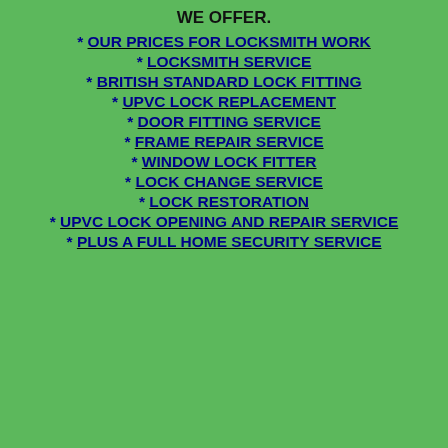WE OFFER.
* OUR PRICES FOR LOCKSMITH WORK
* LOCKSMITH SERVICE
* BRITISH STANDARD LOCK FITTING
* UPVC LOCK REPLACEMENT
* DOOR FITTING SERVICE
* FRAME REPAIR SERVICE
* WINDOW LOCK FITTER
* LOCK CHANGE SERVICE
* LOCK RESTORATION
* UPVC LOCK OPENING AND REPAIR SERVICE
* PLUS A FULL HOME SECURITY SERVICE